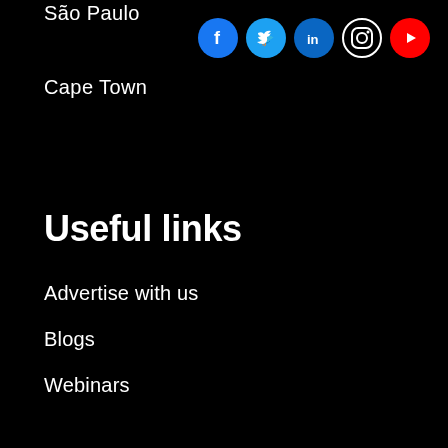São Paulo
[Figure (infographic): Row of five social media icons: Facebook (blue circle), Twitter (light blue circle), LinkedIn (dark blue circle), Instagram (black circle with white border), YouTube (red circle)]
Cape Town
Useful links
Advertise with us
Blogs
Webinars
Press releases
Insights